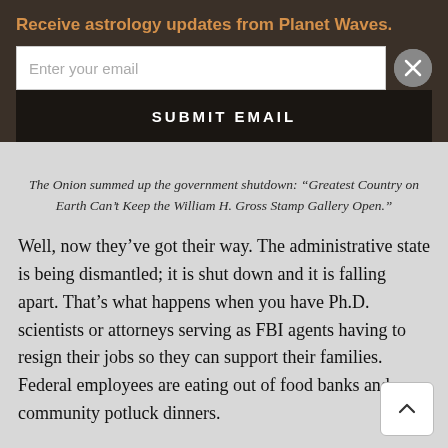Receive astrology updates from Planet Waves.
The Onion summed up the government shutdown: “Greatest Country on Earth Can’t Keep the William H. Gross Stamp Gallery Open.”
Well, now they’ve got their way. The administrative state is being dismantled; it is shut down and it is falling apart. That’s what happens when you have Ph.D. scientists or attorneys serving as FBI agents having to resign their jobs so they can support their families. Federal employees are eating out of food banks and community potluck dinners.